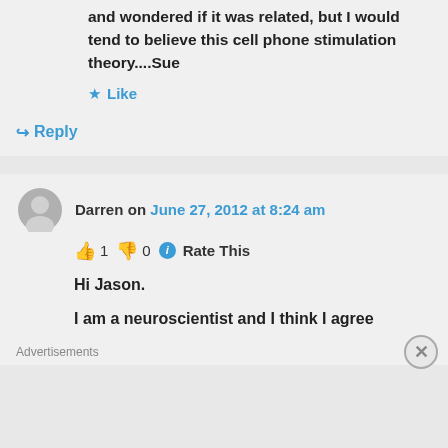and wondered if it was related, but I would tend to believe this cell phone stimulation theory....Sue
Like
Reply
Darren on June 27, 2012 at 8:24 am
👍 1 👎 0 ℹ Rate This
Hi Jason.
I am a neuroscientist and I think I agree
Advertisements